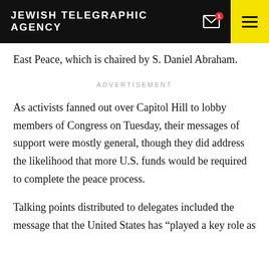JEWISH TELEGRAPHIC AGENCY
East Peace, which is chaired by S. Daniel Abraham.
ADVERTISEMENT
As activists fanned out over Capitol Hill to lobby members of Congress on Tuesday, their messages of support were mostly general, though they did address the likelihood that more U.S. funds would be required to complete the peace process.
Talking points distributed to delegates included the message that the United States has “played a key role as